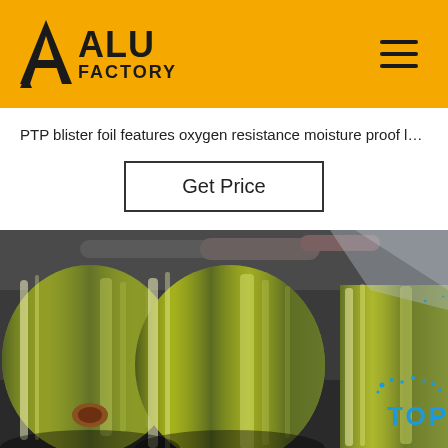[Figure (logo): ALU FACTORY logo with yellow triangular icon and bold black text on yellow background]
PTP blister foil features oxygen resistance moisture proof l…
Get Price
[Figure (photo): Large rolls of gold/green colored aluminum foil (PTP blister foil) stacked in an industrial warehouse setting]